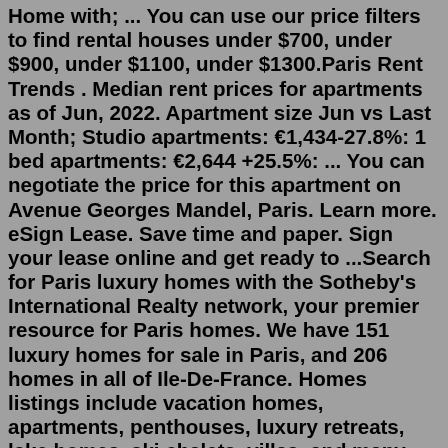Home with; ... You can use our price filters to find rental houses under $700, under $900, under $1100, under $1300.Paris Rent Trends . Median rent prices for apartments as of Jun, 2022. Apartment size Jun vs Last Month; Studio apartments: €1,434-27.8%: 1 bed apartments: €2,644 +25.5%: ... You can negotiate the price for this apartment on Avenue Georges Mandel, Paris. Learn more. eSign Lease. Save time and paper. Sign your lease online and get ready to ...Search for Paris luxury homes with the Sotheby's International Realty network, your premier resource for Paris homes. We have 151 luxury homes for sale in Paris, and 206 homes in all of Ile-De-France. Homes listings include vacation homes, apartments, penthouses, luxury retreats, lake homes, ski chalets, villas, and many more lifestyle options.Cost of Living in Paris. Family of four estimated monthly costs are 3,504.88$ (3,412.34€) without rent (using our estimator). A single person estimated monthly costs are 977.11$ (951.31€) without rent. Paris is 27.17% less expensive than New York (without rent, see our cost of living